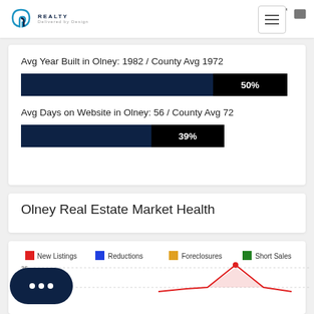D Realty by Design logo with navigation icons
Avg Year Built in Olney: 1982 / County Avg 1972
[Figure (bar-chart): Avg Year Built]
Avg Days on Website in Olney: 56 / County Avg 72
[Figure (bar-chart): Avg Days on Website]
Olney Real Estate Market Health
[Figure (line-chart): Line/area chart showing New Listings (red), Reductions (blue), Foreclosures (gold), Short Sales (green). Y-axis shows values up to 35. A red spike visible at top right reaching ~35.]